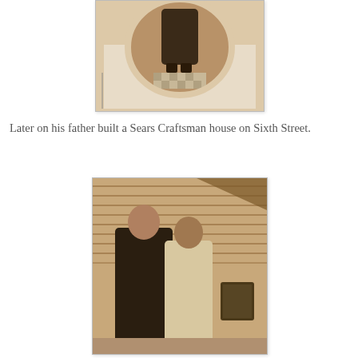[Figure (photo): Sepia-toned vintage oval portrait photo showing lower portion of a person standing, mounted on a light card background with a thin border.]
Later on his father built a Sears Craftsman house on Sixth Street.
[Figure (photo): Sepia-toned vintage photograph of a man and a woman standing in front of a house with horizontal siding. The man wears a dark suit and the woman wears a light dress.]